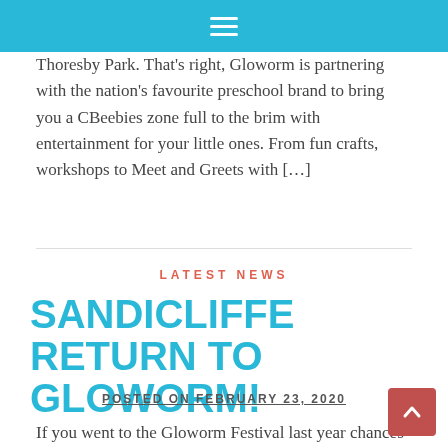Navigation menu icon
Thoresby Park. That's right, Gloworm is partnering with the nation's favourite preschool brand to bring you a CBeebies zone full to the brim with entertainment for your little ones. From fun crafts, workshops to Meet and Greets with […]
LATEST NEWS
SANDICLIFFE RETURN TO GLOWORM!
POSTED ON FEBRUARY 23, 2020
If you went to the Gloworm Festival last year chances are you had to double take at a brand new car that had been totally